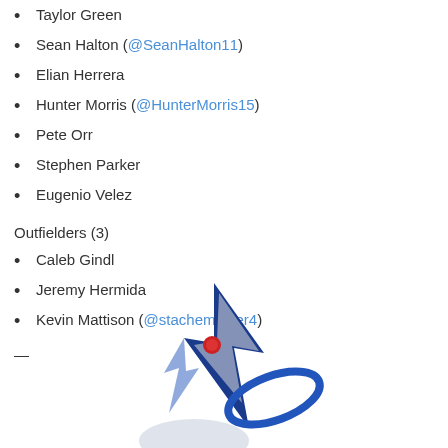Taylor Green
Sean Halton (@SeanHalton11)
Elian Herrera
Hunter Morris (@HunterMorris15)
Pete Orr
Stephen Parker
Eugenio Velez
Outfielders (3)
Caleb Gindl
Jeremy Hermida
Kevin Mattison (@stachemaster4)
—
[Figure (logo): Sports team logo featuring a blue rocket or lightning bolt shape with a circular orbit element, on a white background — partial view cropped at bottom]